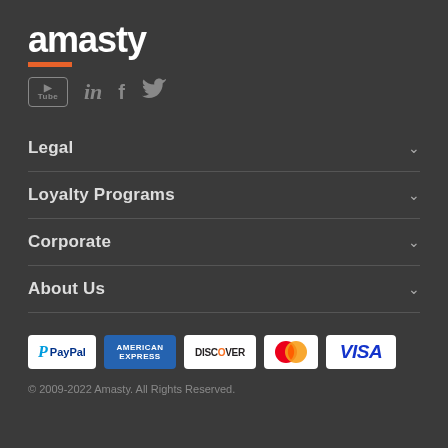amasty
[Figure (logo): Amasty logo with orange underbar and social media icons: YouTube, LinkedIn, Facebook, Twitter]
Legal
Loyalty Programs
Corporate
About Us
[Figure (other): Payment method badges: PayPal, American Express, Discover, Mastercard, Visa]
© 2009-2022 Amasty. All Rights Reserved.